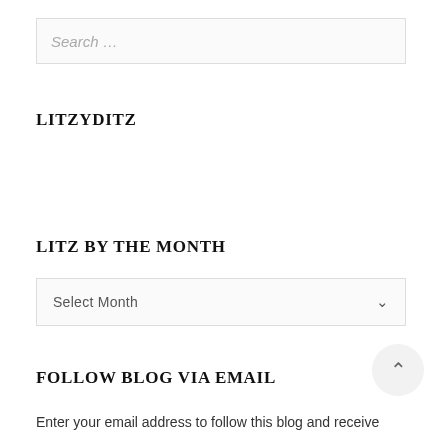Search …
LITZYDITZ
LITZ BY THE MONTH
Select Month
FOLLOW BLOG VIA EMAIL
Enter your email address to follow this blog and receive